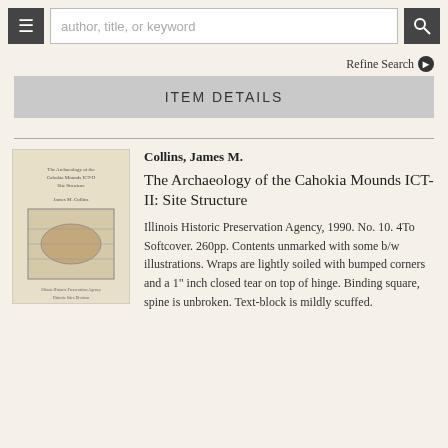author, title, or keyword [search bar with menu and search buttons]
Refine Search ▶
ITEM DETAILS
[Figure (photo): Photo of the book cover: 'The Archaeology of the Cahokia Mounds ICT-II: Site Structure' by James M. Collins, showing a plain paper cover with a map illustration.]
Collins, James M.
The Archaeology of the Cahokia Mounds ICT-II: Site Structure
Illinois Historic Preservation Agency, 1990. No. 10. 4To Softcover. 260pp. Contents unmarked with some b/w illustrations. Wraps are lightly soiled with bumped corners and a 1" inch closed tear on top of hinge. Binding square, spine is unbroken. Text-block is mildly scuffed.